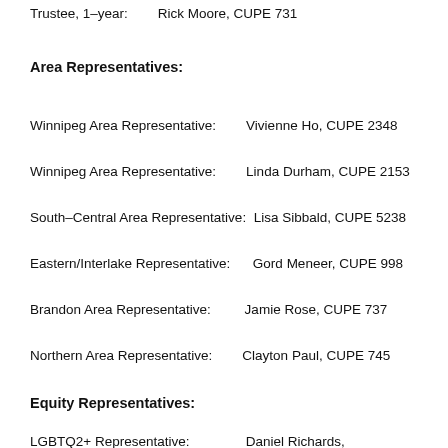Trustee, 1-year:        Rick Moore, CUPE 731
Area Representatives:
Winnipeg Area Representative:        Vivienne Ho, CUPE 2348
Winnipeg Area Representative:        Linda Durham, CUPE 2153
South-Central Area Representative:  Lisa Sibbald, CUPE 5238
Eastern/Interlake Representative:      Gord Meneer, CUPE 998
Brandon Area Representative:         Jamie Rose, CUPE 737
Northern Area Representative:        Clayton Paul, CUPE 745
Equity Representatives:
LGBTQ2+ Representative:                Daniel Richards,